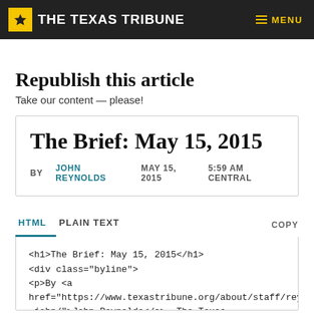THE TEXAS TRIBUNE  MENU
Republish this article
Take our content — please!
The Brief: May 15, 2015
BY JOHN REYNOLDS  MAY 15, 2015  5:59 AM CENTRAL
HTML  PLAIN TEXT  COPY
<h1>The Brief: May 15, 2015</h1>
<div class="byline">
<p>By <a
href="https://www.texastribune.org/about/staff/reynolds-john/">John Reynolds</a>, The Texas Tribune</p>
<p><time datetime="2015-05-15T05:59:00-0500">May
15, 2015</time></p>